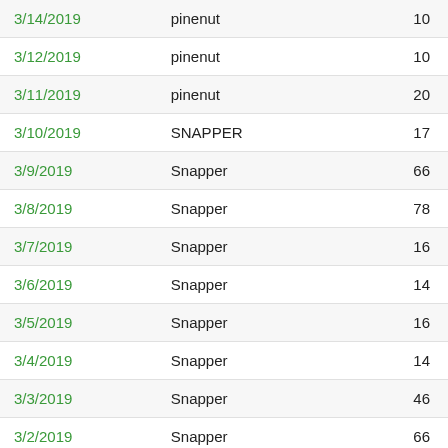| Date | Name | Value |
| --- | --- | --- |
| 3/14/2019 | pinenut | 10 |
| 3/12/2019 | pinenut | 10 |
| 3/11/2019 | pinenut | 20 |
| 3/10/2019 | SNAPPER | 17 |
| 3/9/2019 | Snapper | 66 |
| 3/8/2019 | Snapper | 78 |
| 3/7/2019 | Snapper | 16 |
| 3/6/2019 | Snapper | 14 |
| 3/5/2019 | Snapper | 16 |
| 3/4/2019 | Snapper | 14 |
| 3/3/2019 | Snapper | 46 |
| 3/2/2019 | Snapper | 66 |
| 3/1/2019 | Snapper | 54 |